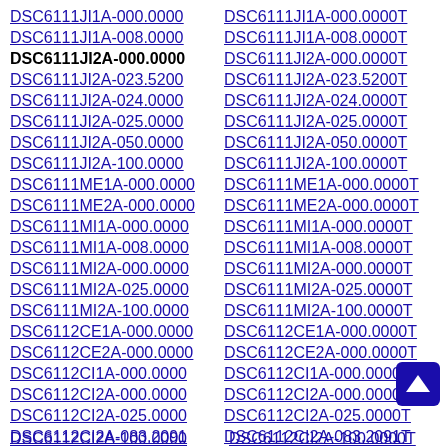DSC6111JI1A-000.0000  DSC6111JI1A-000.0000T
DSC6111JI1A-008.0000  DSC6111JI1A-008.0000T
DSC6111JI2A-000.0000  DSC6111JI2A-000.0000T
DSC6111JI2A-023.5200  DSC6111JI2A-023.5200T
DSC6111JI2A-024.0000  DSC6111JI2A-024.0000T
DSC6111JI2A-025.0000  DSC6111JI2A-025.0000T
DSC6111JI2A-050.0000  DSC6111JI2A-050.0000T
DSC6111JI2A-100.0000  DSC6111JI2A-100.0000T
DSC6111ME1A-000.0000  DSC6111ME1A-000.0000T
DSC6111ME2A-000.0000  DSC6111ME2A-000.0000T
DSC6111MI1A-000.0000  DSC6111MI1A-000.0000T
DSC6111MI1A-008.0000  DSC6111MI1A-008.0000T
DSC6111MI2A-000.0000  DSC6111MI2A-000.0000T
DSC6111MI2A-025.0000  DSC6111MI2A-025.0000T
DSC6111MI2A-100.0000  DSC6111MI2A-100.0000T
DSC6112CE1A-000.0000  DSC6112CE1A-000.0000T
DSC6112CE2A-000.0000  DSC6112CE2A-000.0000T
DSC6112CI1A-000.0000  DSC6112CI1A-000.0000T
DSC6112CI2A-000.0000  DSC6112CI2A-000.0000T
DSC6112CI2A-025.0000  DSC6112CI2A-025.0000T
DSC6112CI2A-083.2091  DSC6112CI2A-083.2091T
DSC6112CI2A-083.3545  DSC6112CI2A-083.3545T
DSC6112CI2A-100.0000  DSC6112CI2A-100.0000T